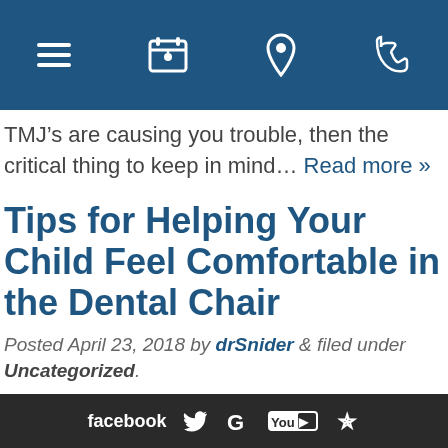[Navigation bar with hamburger menu, calendar, location pin, and phone icons]
TMJ’s are causing you trouble, then the critical thing to keep in mind… Read more »
Tips for Helping Your Child Feel Comfortable in the Dental Chair
Posted April 23, 2018 by drSnider & filed under Uncategorized.
If your child tends to feel nervous or anxious in the dental chair, our dentists, Dr. Ray Snider & Associates, have some tips that can help you change
facebook [Twitter] [Google] [YouTube] [Yelp]